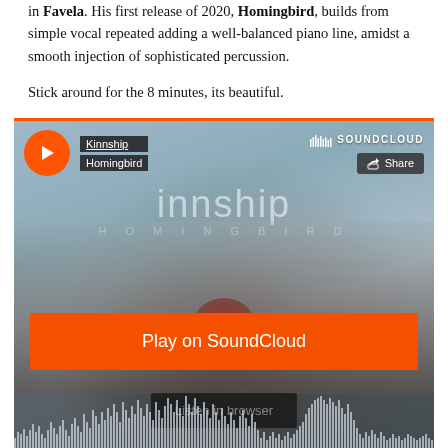in Favela. His first release of 2020, Homingbird, builds from simple vocal repeated adding a well-balanced piano line, amidst a smooth injection of sophisticated percussion.
Stick around for the 8 minutes, its beautiful.
[Figure (screenshot): SoundCloud embedded player for Kinnship - Homingbird. Shows orange play button, track info, SoundCloud logo, Share button, large 'innship' text overlay on a photo of a couple embracing, 'HOMINGBIRD' subtitle, orange 'Play on SoundCloud' button, 'Listen in browser' button, and waveform at the bottom.]